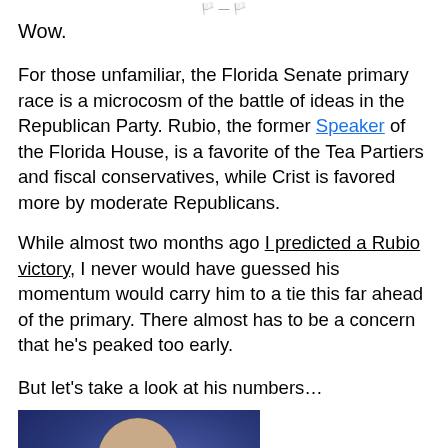Wow.
For those unfamiliar, the Florida Senate primary race is a microcosm of the battle of ideas in the Republican Party. Rubio, the former Speaker of the Florida House, is a favorite of the Tea Partiers and fiscal conservatives, while Crist is favored more by moderate Republicans.
While almost two months ago I predicted a Rubio victory, I never would have guessed his momentum would carry him to a tie this far ahead of the primary. There almost has to be a concern that he's peaked too early.
But let's take a look at his numbers…
[Figure (photo): Photo of Marco Rubio, a man with dark hair in a suit, pointing finger upward against a blue background]